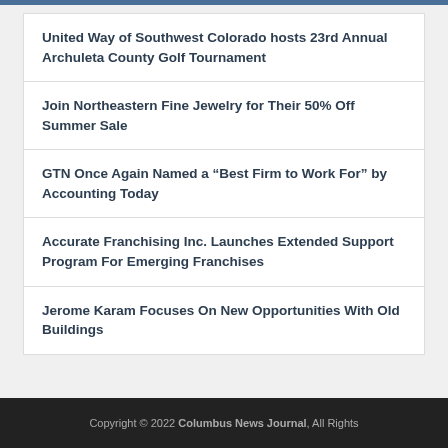United Way of Southwest Colorado hosts 23rd Annual Archuleta County Golf Tournament
Join Northeastern Fine Jewelry for Their 50% Off Summer Sale
GTN Once Again Named a “Best Firm to Work For” by Accounting Today
Accurate Franchising Inc. Launches Extended Support Program For Emerging Franchises
Jerome Karam Focuses On New Opportunities With Old Buildings
Copyright © 2022 Columbus News Journal, All Rights